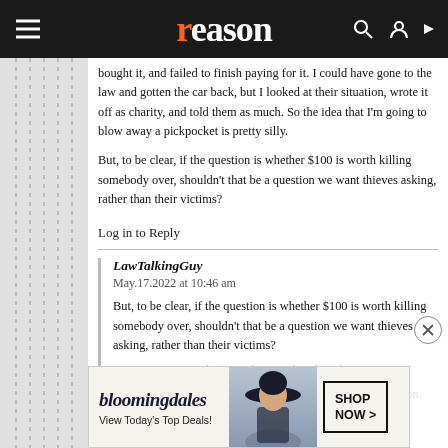reason
bought it, and failed to finish paying for it. I could have gone to the law and gotten the car back, but I looked at their situation, wrote it off as charity, and told them as much. So the idea that I'm going to blow away a pickpocket is pretty silly.

But, to be clear, if the question is whether $100 is worth killing somebody over, shouldn't that be a question we want thieves asking, rather than their victims?
Log in to Reply
LawTalkingGuy
May.17.2022 at 10:46 am

But, to be clear, if the question is whether $100 worth killing somebody over, shouldn't that be a question we want thieves asking, rather than their victims?
[Figure (screenshot): Bloomingdale's advertisement banner: 'View Today's Top Deals!' with SHOP NOW > button and woman in hat image]